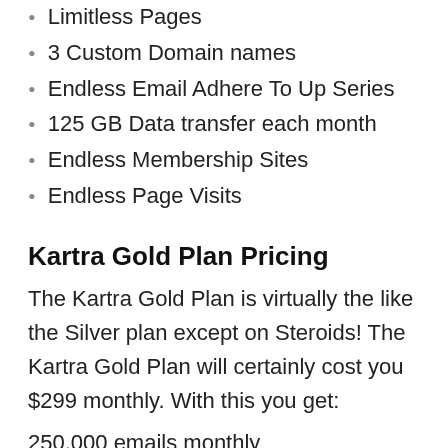Limitless Pages
3 Custom Domain names
Endless Email Adhere To Up Series
125 GB Data transfer each month
Endless Membership Sites
Endless Page Visits
Kartra Gold Plan Pricing
The Kartra Gold Plan is virtually the like the Silver plan except on Steroids! The Kartra Gold Plan will certainly cost you $299 monthly. With this you get:
250,000 emails monthly
Up to 25,000 get in touches with